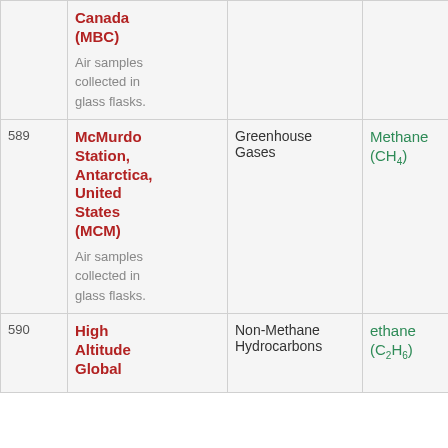| # | Station | Gas Type | Compound |  |
| --- | --- | --- | --- | --- |
|  | Canada (MBC)
Air samples collected in glass flasks. |  |  | F |
| 589 | McMurdo Station, Antarctica, United States (MCM)
Air samples collected in glass flasks. | Greenhouse Gases | Methane (CH4) | F |
| 590 | High Altitude Global | Non-Methane Hydrocarbons | ethane (C2H6) | F |